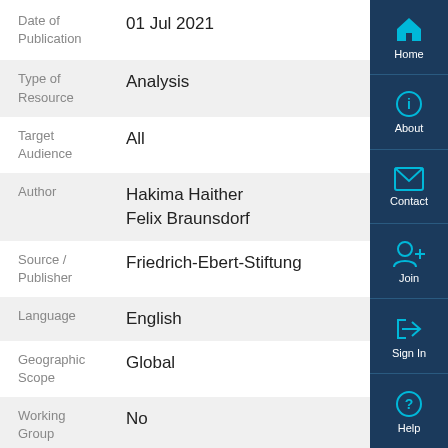Date of Publication: 01 Jul 2021
Type of Resource: Analysis
Target Audience: All
Author: Hakima Haither, Felix Braunsdorf
Source / Publisher: Friedrich-Ebert-Stiftung
Language: English
Geographic Scope: Global
Working Group: No